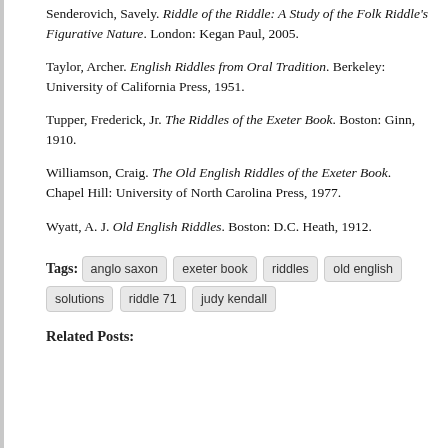Senderovich, Savely. Riddle of the Riddle: A Study of the Folk Riddle's Figurative Nature. London: Kegan Paul, 2005.
Taylor, Archer. English Riddles from Oral Tradition. Berkeley: University of California Press, 1951.
Tupper, Frederick, Jr. The Riddles of the Exeter Book. Boston: Ginn, 1910.
Williamson, Craig. The Old English Riddles of the Exeter Book. Chapel Hill: University of North Carolina Press, 1977.
Wyatt, A. J. Old English Riddles. Boston: D.C. Heath, 1912.
Tags: anglo saxon | exeter book | riddles | old english | solutions | riddle 71 | judy kendall
Related Posts: